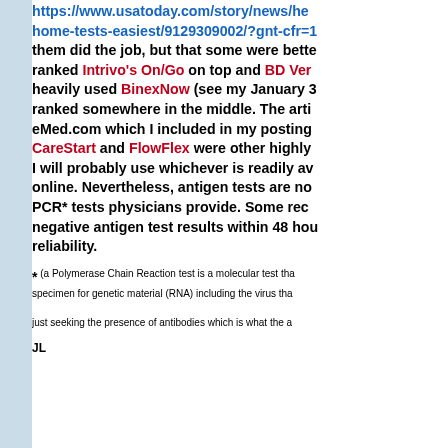https://www.usatoday.com/story/news/he... home-tests-easiest/9129309002/?gnt-cfr=1 them did the job, but that some were better ranked Intrivo's On/Go on top and BD Ver... heavily used BinexNow (see my January 3... ranked somewhere in the middle. The arti... eMed.com which I included in my posting... CareStart and FlowFlex were other highly... I will probably use whichever is readily av... online.  Nevertheless, antigen tests are no... PCR* tests physicians provide.  Some rec... negative antigen test results within 48 ho... reliability.
* (a Polymerase Chain Reaction test is a molecular test tha... specimen for genetic material (RNA) including the virus tha... just seeking the presence of antibodies which is what the a...
JL